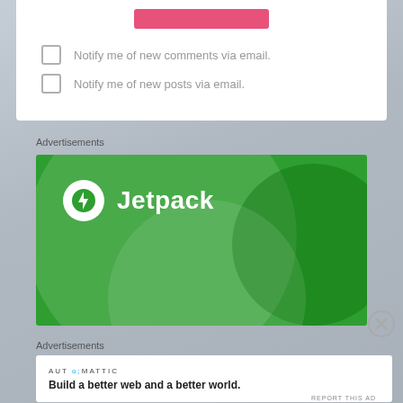[Figure (screenshot): Pink submit button at top of white comment form card]
Notify me of new comments via email.
Notify me of new posts via email.
Advertisements
[Figure (logo): Jetpack advertisement banner — green background with white Jetpack logo (lightning bolt in circle) and Jetpack text in white]
Advertisements
[Figure (logo): Automattic advertisement — white background with AUTOMATTIC text and tagline 'Build a better web and a better world.']